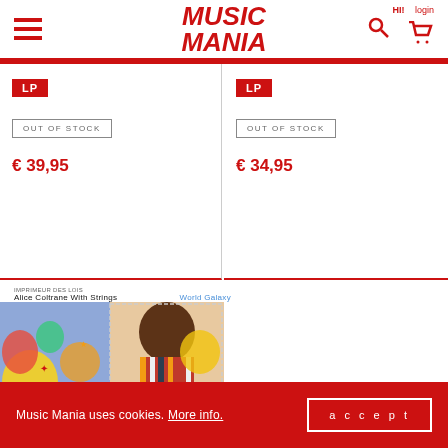HI! login
[Figure (logo): Music Mania logo in red italic bold text, hamburger menu icon on left, search and cart icons on right]
LP
OUT OF STOCK
€ 39,95
LP
OUT OF STOCK
€ 34,95
[Figure (photo): Alice Coltrane With Strings - World Galaxy album cover art showing a woman with afro hair in striped clothing against colorful psychedelic background]
Alice Coltrane With Strings   World Galaxy
Music Mania uses cookies. More info. accept